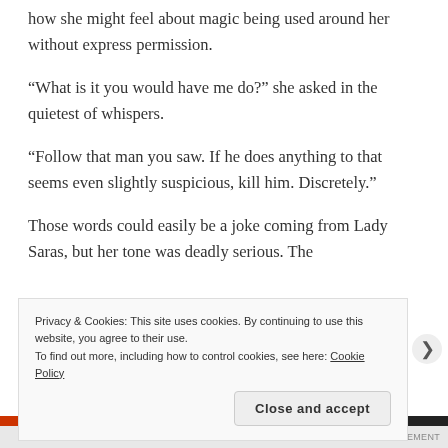how she might feel about magic being used around her without express permission.
“What is it you would have me do?” she asked in the quietest of whispers.
“Follow that man you saw. If he does anything to that seems even slightly suspicious, kill him. Discretely.”
Those words could easily be a joke coming from Lady Saras, but her tone was deadly serious. The
Privacy & Cookies: This site uses cookies. By continuing to use this website, you agree to their use.
To find out more, including how to control cookies, see here: Cookie Policy
Close and accept